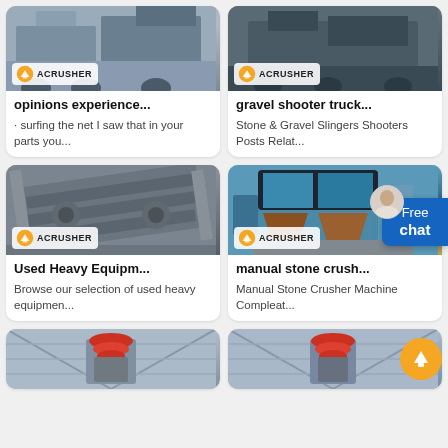[Figure (photo): Mining/crushing equipment with Acrusher logo - opinions experience article thumbnail]
opinions experience...
· surfing the net I saw that in your parts you...
[Figure (photo): Dark machinery with Acrusher logo - gravel shooter truck article thumbnail]
gravel shooter truck...
Stone & Gravel Slingers Shooters Posts Relat...
[Figure (photo): Industrial vibrating screen equipment with Acrusher logo - Used Heavy Equipment article thumbnail]
Used Heavy Equipm...
Browse our selection of used heavy equipmen...
[Figure (photo): Blue and brown crushing machine with Acrusher logo - manual stone crusher article thumbnail]
manual stone crush...
Manual Stone Crusher Machine Compleat...
[Figure (photo): Red crusher machine inside industrial building - bottom left thumbnail]
[Figure (photo): Red crusher machine inside industrial building - bottom right thumbnail]